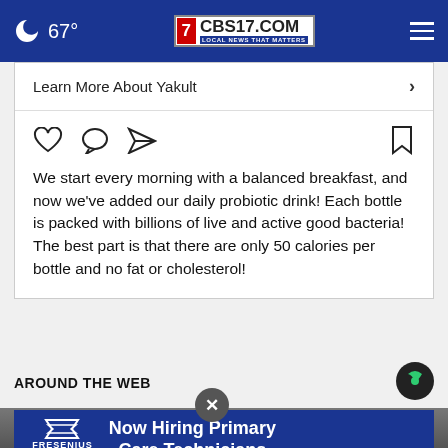67° CBS17.COM LOCAL NEWS THAT MATTERS
Learn More About Yakult
[Figure (screenshot): Social media interaction icons: heart (like), speech bubble (comment), paper plane (share), and bookmark]
We start every morning with a balanced breakfast, and now we've added our daily probiotic drink! Each bottle is packed with billions of live and active good bacteria! The best part is that there are only 50 calories per bottle and no fat or cholesterol!
AROUND THE WEB
[Figure (logo): Taboola logo - green and dark circle logo]
[Figure (screenshot): Close button X in gray circle]
[Figure (infographic): Fresenius Kidney Care advertisement - Now Hiring Primary Care Technicians]
[Figure (photo): Background photo partially visible at bottom of page]